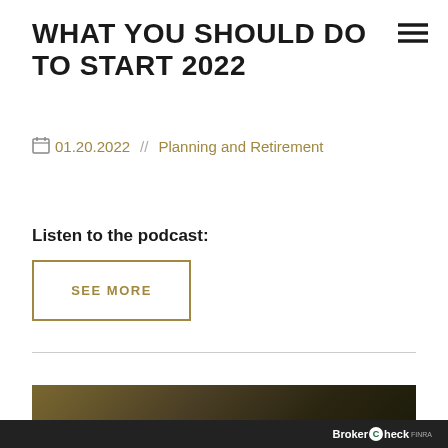WHAT YOU SHOULD DO TO START 2022
01.20.2022  //  Planning and Retirement
Listen to the podcast:
SEE MORE
[Figure (photo): Partially visible photo at bottom of page, dark golden-brown tones, appears to show a person]